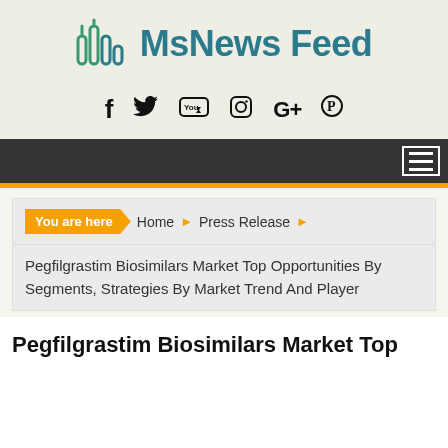[Figure (logo): MsNews Feed logo with stylized bar-chart icon in teal/green and teal text]
[Figure (infographic): Social media icons: Facebook, Twitter, YouTube, Instagram, Google+, Pinterest]
Navigation bar with hamburger menu icon
You are here  Home  Press Release  Pegfilgrastim Biosimilars Market Top Opportunities By Segments, Strategies By Market Trend And Player
Pegfilgrastim Biosimilars Market Top